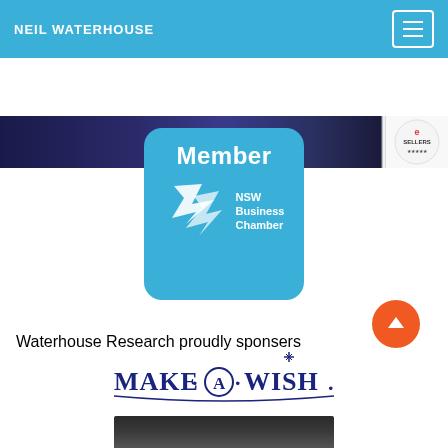NEIL WATERHOUSE
[Figure (photo): Navigation bar with 'NEIL WATERHOUSE' text on blue background and hamburger menu icon on the right]
[Figure (photo): Banner strip showing a night cityscape with an eBay Top Sellers badge on the right]
[Figure (logo): NSW Business Chamber Member badge - blue rounded rectangle with 'Member' text and NSW Business Chamber logo in white]
Waterhouse Research proudly sponsers
[Figure (logo): Make-A-Wish foundation logo in dark blue]
[Figure (photo): Partial bottom image strip showing a dark scene]